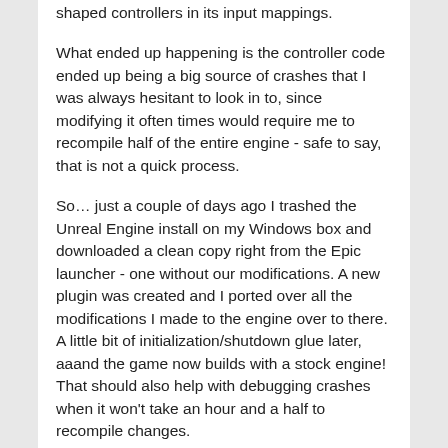shaped controllers in its input mappings.
What ended up happening is the controller code ended up being a big source of crashes that I was always hesitant to look in to, since modifying it often times would require me to recompile half of the entire engine - safe to say, that is not a quick process.
So… just a couple of days ago I trashed the Unreal Engine install on my Windows box and downloaded a clean copy right from the Epic launcher - one without our modifications. A new plugin was created and I ported over all the modifications I made to the engine over to there. A little bit of initialization/shutdown glue later, aaand the game now builds with a stock engine! That should also help with debugging crashes when it won't take an hour and a half to recompile changes.
And Brandon can now hush about builds taking so long since you don't need to compile the whole engine any more. :)